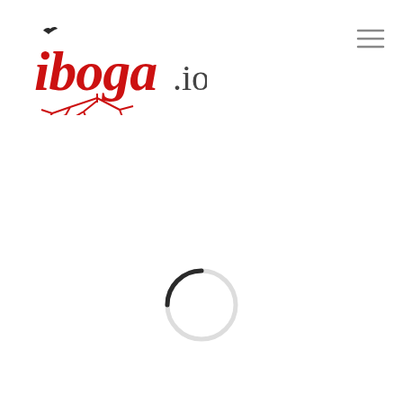[Figure (logo): iboga.io logo with red stylized text and root/tree imagery, small bird silhouette above the letter i]
[Figure (other): Hamburger menu icon (three horizontal lines) in gray, top right corner]
[Figure (other): Circular loading spinner - a thin ring mostly light gray with a small dark arc segment at the top-left, indicating a loading state]